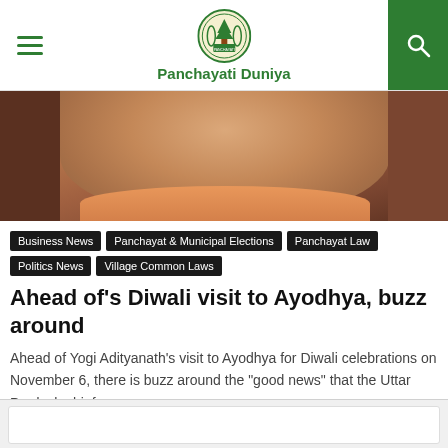Panchayati Duniya
[Figure (photo): Close-up photo of a person's neck and lower face, wearing an orange/saffron colored garment]
Business News
Panchayat & Municipal Elections
Panchayat Law
Politics News
Village Common Laws
Ahead of's Diwali visit to Ayodhya, buzz around
Ahead of Yogi Adityanath's visit to Ayodhya for Diwali celebrations on November 6, there is buzz around the "good news" that the Uttar Pradesh chief